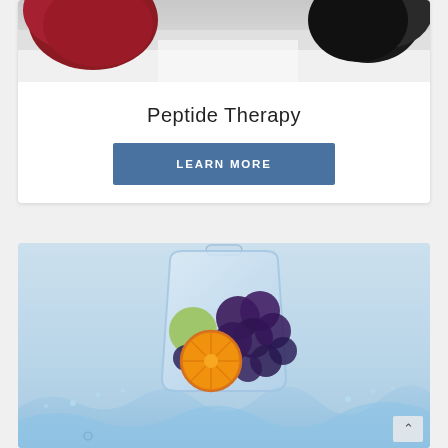[Figure (photo): Top portion of a lab/medical equipment photo showing red and black objects on a white/gray background, partially cropped]
Peptide Therapy
LEARN MORE
[Figure (photo): Photo of a clear IV/infusion bag containing fruits (grapes, blueberries, orange slice) with water splashing at the bottom, on a light blue-gray background]